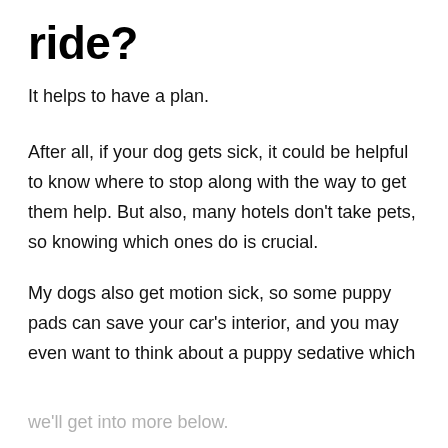ride?
It helps to have a plan.
After all, if your dog gets sick, it could be helpful to know where to stop along with the way to get them help. But also, many hotels don't take pets, so knowing which ones do is crucial.
My dogs also get motion sick, so some puppy pads can save your car's interior, and you may even want to think about a puppy sedative which
we'll get into more below.